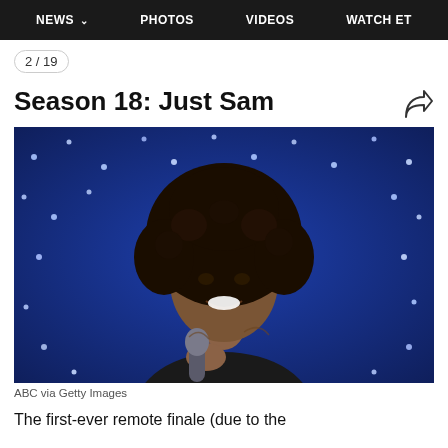NEWS  PHOTOS  VIDEOS  WATCH ET
2 / 19
Season 18: Just Sam
[Figure (photo): A smiling woman with curly natural hair holding a microphone, standing in front of a blue LED fairy-light curtain background, with tattoos visible on her chest and arms.]
ABC via Getty Images
The first-ever remote finale (due to the